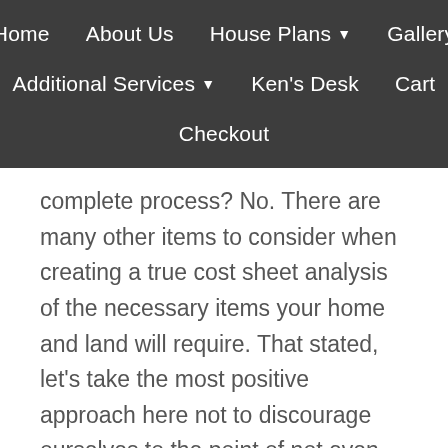Home  About Us  House Plans ▼  Gallery  Additional Services ▼  Ken's Desk  Cart  Checkout
complete process? No. There are many other items to consider when creating a true cost sheet analysis of the necessary items your home and land will require. That stated, let's take the most positive approach here not to discourage ourselves to the point of not even trying to consider starting on this adventure.
Here is the most positive matrix of approaching this addition...